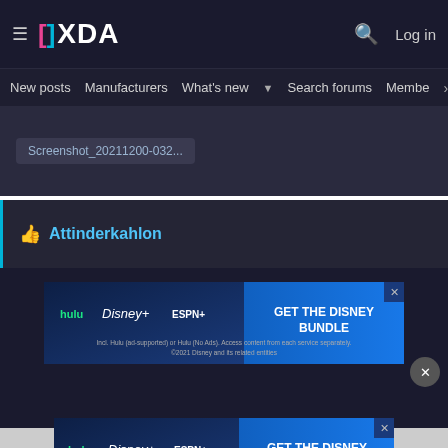XDA — Log in
New posts  Manufacturers  What's new  Search forums  Members  >
Screenshot_20211200-032...
Attinderkahlon
[Figure (screenshot): Disney Bundle advertisement banner on dark background showing Hulu, Disney+, ESPN+ logos with 'GET THE DISNEY BUNDLE' call to action. Fine print: Incl. Hulu (ad-supported) or Hulu (No Ads). Access content from each service separately. ©2021 Disney and its related entities]
[Figure (screenshot): Disney Bundle advertisement banner on light gray background showing Hulu, Disney+, ESPN+ logos with 'GET THE DISNEY BUNDLE' call to action. Fine print: Incl. Hulu (ad-supported) or Hulu (No Ads). Access content from each service separately. ©2021 Disney and its related entities]